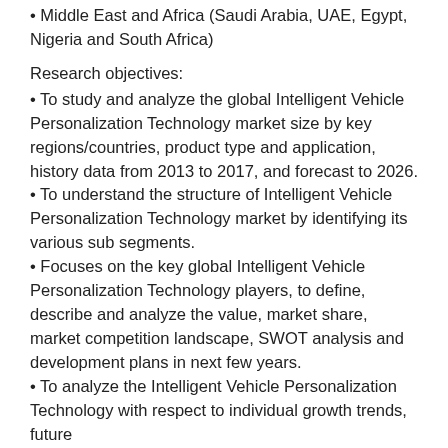• Middle East and Africa (Saudi Arabia, UAE, Egypt, Nigeria and South Africa)
Research objectives:
• To study and analyze the global Intelligent Vehicle Personalization Technology market size by key regions/countries, product type and application, history data from 2013 to 2017, and forecast to 2026.
• To understand the structure of Intelligent Vehicle Personalization Technology market by identifying its various sub segments.
• Focuses on the key global Intelligent Vehicle Personalization Technology players, to define, describe and analyze the value, market share, market competition landscape, SWOT analysis and development plans in next few years.
• To analyze the Intelligent Vehicle Personalization Technology with respect to individual growth trends, future